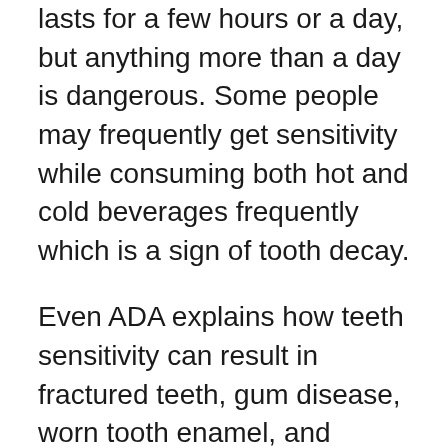lasts for a few hours or a day, but anything more than a day is dangerous. Some people may frequently get sensitivity while consuming both hot and cold beverages frequently which is a sign of tooth decay.
Even ADA explains how teeth sensitivity can result in fractured teeth, gum disease, worn tooth enamel, and fillings or exposed tooth root. If you have sensitivity in your original teeth, there are high chances of dental cavity or decay.
Sensitive teeth are quite challenging to handle amidst hectic schedules as they create extreme disturbance both mentally and physically. Some can get headaches due to tooth sensitivity. Thus, it is the right